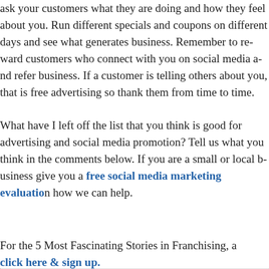ask your customers what they are doing and how they feel about you. Run different specials and coupons on different days and see what generates business. Remember to reward customers who connect with you on social media and refer business. If a customer is telling others about you, that is free advertising so thank them from time to time.
What have I left off the list that you think is good for advertising and social media promotion? Tell us what you think in the comments below. If you are a small or local business give you a free social media marketing evaluation and see how we can help.
For the 5 Most Fascinating Stories in Franchising, a click here & sign up.